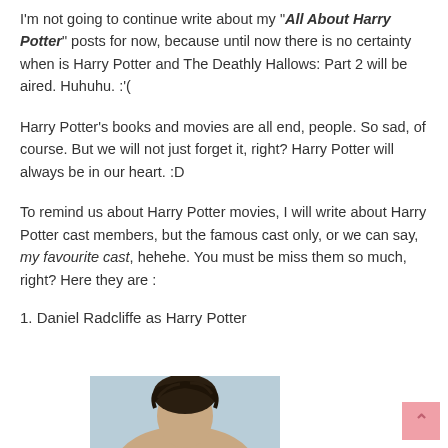I'm not going to continue write about my "All About Harry Potter" posts for now, because until now there is no certainty when is Harry Potter and The Deathly Hallows: Part 2 will be aired. Huhuhu. :'(
Harry Potter's books and movies are all end, people. So sad, of course. But we will not just forget it, right? Harry Potter will always be in our heart. :D
To remind us about Harry Potter movies, I will write about Harry Potter cast members, but the famous cast only, or we can say, my favourite cast, hehehe. You must be miss them so much, right? Here they are :
1. Daniel Radcliffe as Harry Potter
[Figure (photo): Photo of a person with dark messy hair, likely Daniel Radcliffe as Harry Potter, against a light blue/grey background]